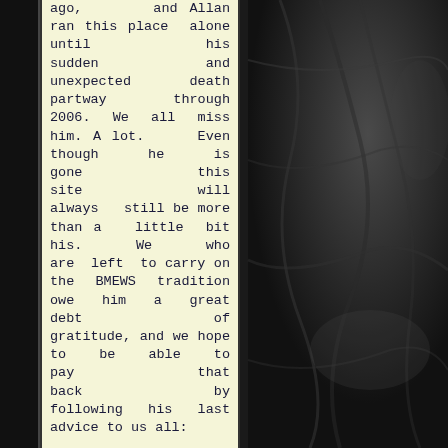ago, and Allan ran this place alone until his sudden and unexpected death partway through 2006. We all miss him. A lot. Even though he is gone this site will always still be more than a little bit his. We who are left to carry on the BMEWS tradition owe him a great debt of gratitude, and we hope to be able to pay that back by following his last advice to us all:
1. Keep a firm grasp
[Figure (photo): Dark textured fabric or surface background on the right side of the page]